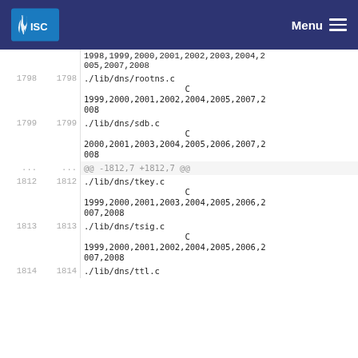ISC | Menu
| left-line | right-line | code |
| --- | --- | --- |
|  |  | 1998,1999,2000,2001,2002,2003,2004,2005,2007,2008 |
| 1798 | 1798 | ./lib/dns/rootns.c
                    C
1999,2000,2001,2002,2004,2005,2007,2008 |
| 1799 | 1799 | ./lib/dns/sdb.c
                    C
2000,2001,2003,2004,2005,2006,2007,2008 |
| ... | ... | @@ -1812,7 +1812,7 @@ |
| 1812 | 1812 | ./lib/dns/tkey.c
                    C
1999,2000,2001,2003,2004,2005,2006,2007,2008 |
| 1813 | 1813 | ./lib/dns/tsig.c
                    C
1999,2000,2001,2002,2004,2005,2006,2007,2008 |
| 1814 | 1814 | ./lib/dns/ttl.c |